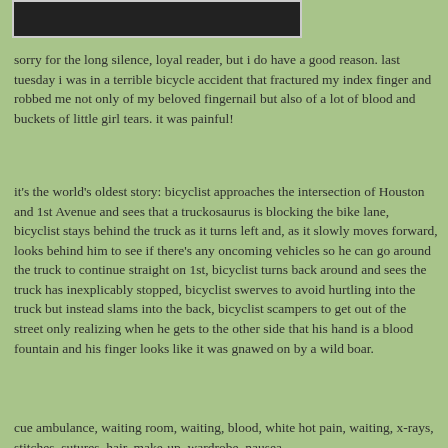[Figure (photo): Partial photo visible at top of page, dark image cropped at top]
sorry for the long silence, loyal reader, but i do have a good reason. last tuesday i was in a terrible bicycle accident that fractured my index finger and robbed me not only of my beloved fingernail but also of a lot of blood and buckets of little girl tears. it was painful!
it's the world's oldest story: bicyclist approaches the intersection of Houston and 1st Avenue and sees that a truckosaurus is blocking the bike lane, bicyclist stays behind the truck as it turns left and, as it slowly moves forward, looks behind him to see if there's any oncoming vehicles so he can go around the truck to continue straight on 1st, bicyclist turns back around and sees the truck has inexplicably stopped, bicyclist swerves to avoid hurtling into the truck but instead slams into the back, bicyclist scampers to get out of the street only realizing when he gets to the other side that his hand is a blood fountain and his finger looks like it was gnawed on by a wild boar.
cue ambulance, waiting room, waiting, blood, white hot pain, waiting, x-rays, stitches, sutures, hair, make-up, wardrobe, nausea